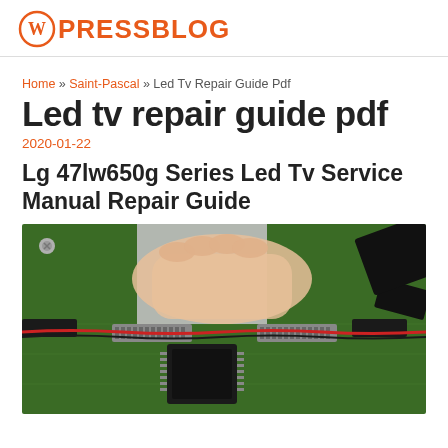WPRESSBLOG
Home » Saint-Pascal » Led Tv Repair Guide Pdf
Led tv repair guide pdf
2020-01-22
Lg 47lw650g Series Led Tv Service Manual Repair Guide
[Figure (photo): Close-up photo of a person's hand connecting flat ribbon cables to connectors on a green TV circuit board (mainboard). Red and black wires with black tape pieces are visible on the board. Large flat ribbon cable visible in upper right.]